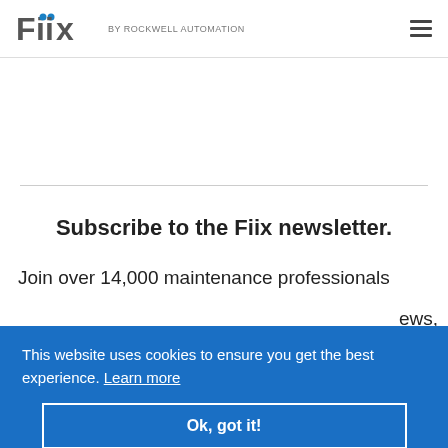Fiix by Rockwell Automation
Subscribe to the Fiix newsletter.
Join over 14,000 maintenance professionals
ews,
This website uses cookies to ensure you get the best experience. Learn more
Ok, got it!